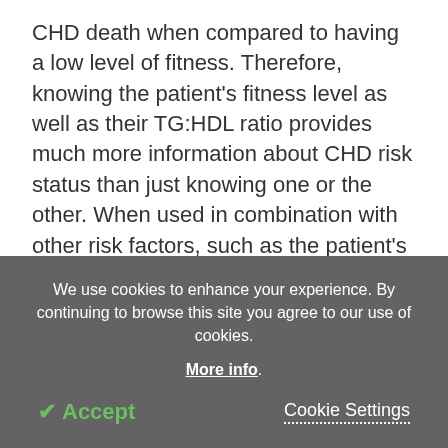CHD death when compared to having a low level of fitness. Therefore, knowing the patient's fitness level as well as their TG:HDL ratio provides much more information about CHD risk status than just knowing one or the other. When used in combination with other risk factors, such as the patient's blood pressure, bloodwork, family history, etc., measuring or estimating the patient's level of CRF can result in a much more accurate determination of their cardiovascular disease risk status.
[faded/partially visible next paragraph text]
We use cookies to enhance your experience. By continuing to browse this site you agree to our use of cookies. More info.